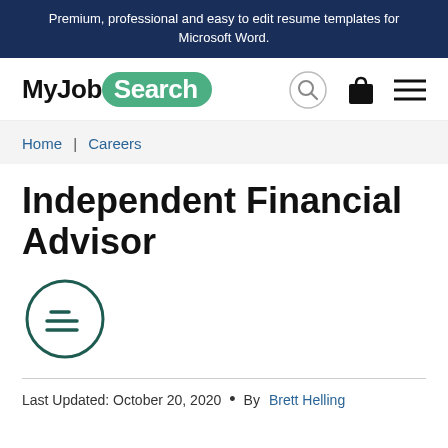Premium, professional and easy to edit resume templates for Microsoft Word.
[Figure (logo): MyJobSearch logo with green rounded pill badge containing 'Search' text, followed by search icon, shopping bag icon, and hamburger menu icon]
Home | Careers
Independent Financial Advisor
[Figure (illustration): Dark teal circle outline containing a simplified document/list icon with lines]
Last Updated: October 20, 2020  •  By Brett Helling